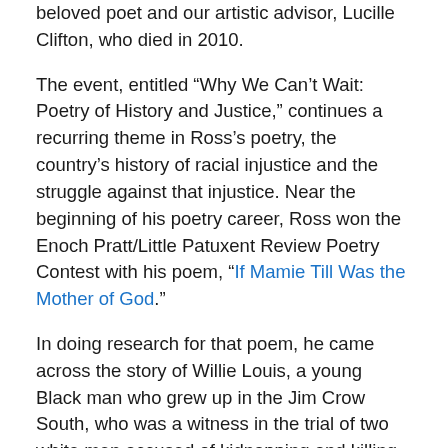beloved poet and our artistic advisor, Lucille Clifton, who died in 2010.
The event, entitled “Why We Can’t Wait: Poetry of History and Justice,” continues a recurring theme in Ross’s poetry, the country’s history of racial injustice and the struggle against that injustice. Near the beginning of his poetry career, Ross won the Enoch Pratt/Little Patuxent Review Poetry Contest with his poem, “If Mamie Till Was the Mother of God.”
In doing research for that poem, he came across the story of Willie Louis, a young Black man who grew up in the Jim Crow South, who was a witness in the trial of two white men accused of kidnapping and killing 14-year-old Emmett Till.